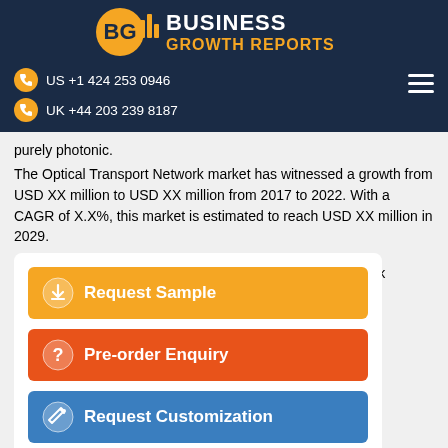BG BUSINESS GROWTH REPORTS
US +1 424 253 0946
UK +44 203 239 8187
purely photonic.
The Optical Transport Network market has witnessed a growth from USD XX million to USD XX million from 2017 to 2022. With a CAGR of X.X%, this market is estimated to reach USD XX million in 2029.
Request Sample
Pre-order Enquiry
Request Customization
Network product r trends. For VID-19.
Technological innovation and advancement will furth optimize the performance of the product, enabling it to